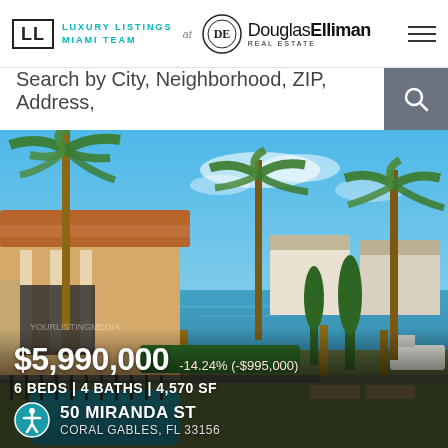LL LUXURY LISTINGS MIAMI TEAM at Douglas Elliman Real Estate
Search by City, Neighborhood, ZIP, Address,
[Figure (photo): Luxury waterfront home with pool, palm trees, and canal view]
$5,990,000 -14.24% (-$995,000)
6 BEDS | 4 BATHS | 4,570 SF
50 MIRANDA ST CORAL GABLES, FL 33156